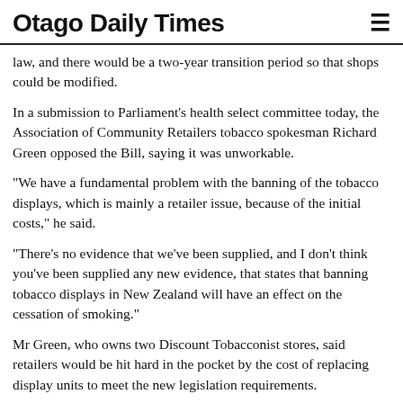Otago Daily Times
law, and there would be a two-year transition period so that shops could be modified.
In a submission to Parliament's health select committee today, the Association of Community Retailers tobacco spokesman Richard Green opposed the Bill, saying it was unworkable.
"We have a fundamental problem with the banning of the tobacco displays, which is mainly a retailer issue, because of the initial costs," he said.
"There's no evidence that we've been supplied, and I don't think you've been supplied any new evidence, that states that banning tobacco displays in New Zealand will have an effect on the cessation of smoking."
Mr Green, who owns two Discount Tobacconist stores, said retailers would be hit hard in the pocket by the cost of replacing display units to meet the new legislation requirements.
He said the cost was likely to be up to $2000 for each unit to